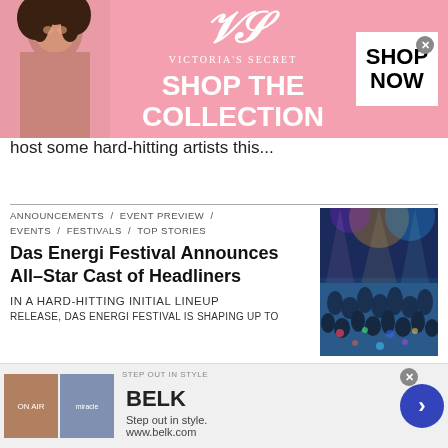[Figure (screenshot): Victoria's Secret advertisement banner with model, VS logo, 'SHOP THE COLLECTION' text, and 'SHOP NOW' button]
host some hard-hitting artists this...
[Figure (photo): Festival crowd photo with colorful lighting]
ANNOUNCEMENTS / EVENT PREVIEW / EVENTS / FESTIVALS / TOP STORIES
Das Energi Festival Announces All-Star Cast of Headliners
IN A HARD-HITTING INITIAL LINEUP
RELEASE, DAS ENERGI FESTIVAL IS SHAPING UP TO
We use cookies on our website to give you the most relevant experience by remembering your preferences and repeat visits. By clicking “Accept All”, you consent to the use of ALL
[Figure (screenshot): Belk advertisement: Step out in style, www.belk.com]